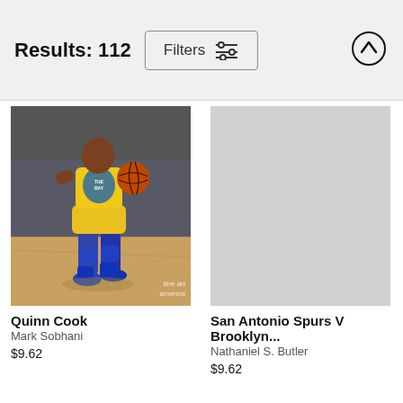Results: 112
[Figure (other): Filters button with sliders icon and up-arrow scroll button in header bar]
[Figure (photo): Basketball player Quinn Cook in Golden State Warriors yellow uniform dribbling a ball on hardwood court, with crowd in background. Fine Art America watermark visible.]
Quinn Cook
Mark Sobhani
$9.62
San Antonio Spurs V Brooklyn...
Nathaniel S. Butler
$9.62